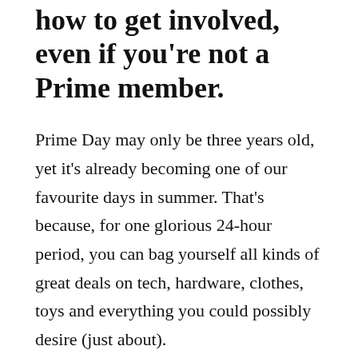how to get involved, even if you're not a Prime member.
Prime Day may only be three years old, yet it's already becoming one of our favourite days in summer. That's because, for one glorious 24-hour period, you can bag yourself all kinds of great deals on tech, hardware, clothes, toys and everything you could possibly desire (just about).
This year, Amazon has even extended the wonders of Prime Day. In 2017, the discount event kicks off six hours earlier, meaning 30 full hours of cheap goods. You can even bag yourself great deals on